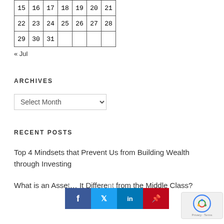| 15 | 16 | 17 | 18 | 19 | 20 | 21 |
| 22 | 23 | 24 | 25 | 26 | 27 | 28 |
| 29 | 30 | 31 |  |  |  |  |
« Jul
ARCHIVES
Select Month
RECENT POSTS
Top 4 Mindsets that Prevent Us from Building Wealth through Investing
What is an Asset… It Differe… from the Middle Class?